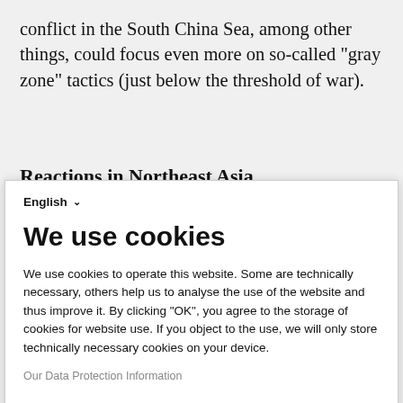conflict in the South China Sea, among other things, could focus even more on so-called "gray zone" tactics (just below the threshold of war).
Reactions in Northeast Asia
We use cookies
We use cookies to operate this website. Some are technically necessary, others help us to analyse the use of the website and thus improve it. By clicking "OK", you agree to the storage of cookies for website use. If you object to the use, we will only store technically necessary cookies on your device.
Our Data Protection Information
OK
No, thank you
Powered by PIWIK PRO